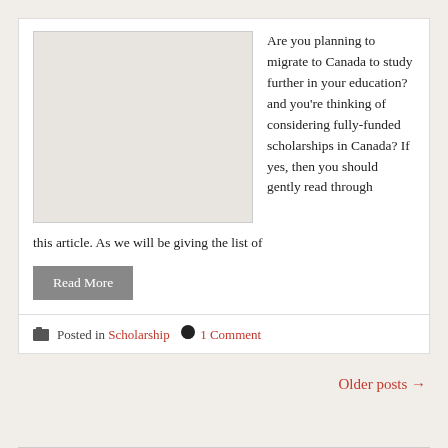[Figure (photo): Placeholder image for scholarship article, light gray rectangle]
Are you planning to migrate to Canada to study further in your education? and you're thinking of considering fully-funded scholarships in Canada? If yes, then you should gently read through this article. As we will be giving the list of
Read More
Posted in Scholarship 1 Comment
Older posts →